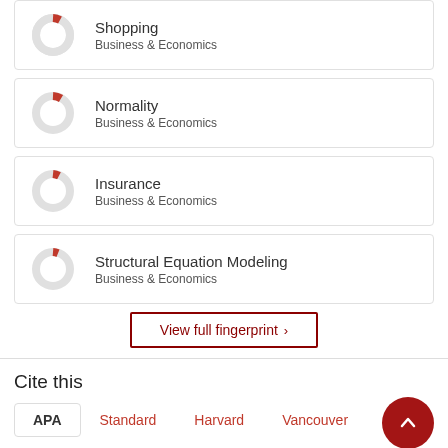Shopping — Business & Economics
Normality — Business & Economics
Insurance — Business & Economics
Structural Equation Modeling — Business & Economics
View full fingerprint >
Cite this
APA  Standard  Harvard  Vancouver